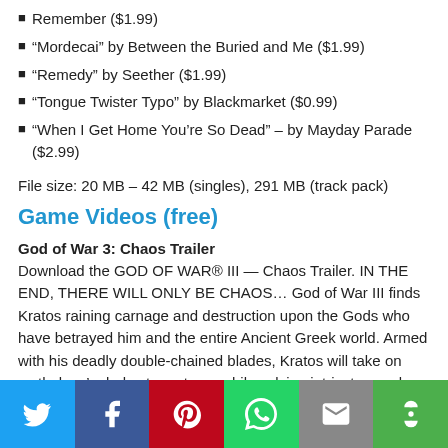Remember ($1.99)
“Mordecai” by Between the Buried and Me ($1.99)
“Remedy” by Seether ($1.99)
“Tongue Twister Typo” by Blackmarket ($0.99)
“When I Get Home You’re So Dead” – by Mayday Parade ($2.99)
File size: 20 MB – 42 MB (singles), 291 MB (track pack)
Game Videos (free)
God of War 3: Chaos Trailer
Download the GOD OF WAR® III — Chaos Trailer. IN THE END, THERE WILL ONLY BE CHAOS… God of War III finds Kratos raining carnage and destruction upon the Gods who have betrayed him and the entire Ancient Greek world. Armed with his deadly double-chained blades, Kratos will take on mythology’s darkest creatures while solving intricate puzzles on his merciless quest to destroy